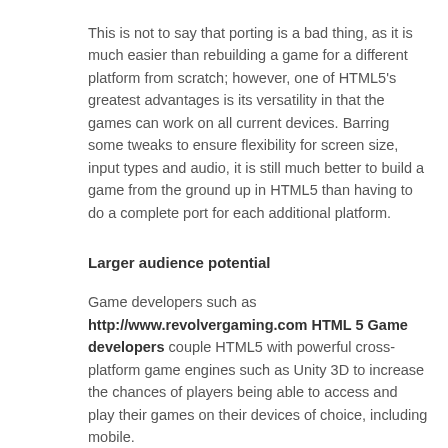This is not to say that porting is a bad thing, as it is much easier than rebuilding a game for a different platform from scratch; however, one of HTML5's greatest advantages is its versatility in that the games can work on all current devices. Barring some tweaks to ensure flexibility for screen size, input types and audio, it is still much better to build a game from the ground up in HTML5 than having to do a complete port for each additional platform.
Larger audience potential
Game developers such as http://www.revolvergaming.com HTML 5 Game developers couple HTML5 with powerful cross-platform game engines such as Unity 3D to increase the chances of players being able to access and play their games on their devices of choice, including mobile.
With the explosion of gaming on mobile